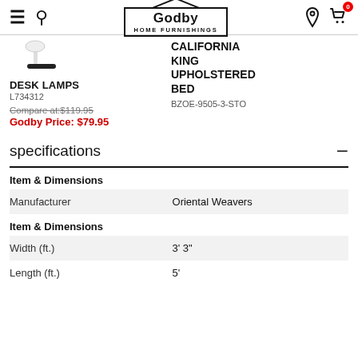Godby HOME FURNISHINGS
DESK LAMPS
L734312
Compare at: $119.95
Godby Price: $79.95
CALIFORNIA KING UPHOLSTERED BED
BZOE-9505-3-STO
specifications
|  |  |
| --- | --- |
| Item & Dimensions |  |
| Manufacturer | Oriental Weavers |
| Item & Dimensions |  |
| Width (ft.) | 3' 3" |
| Length (ft.) | 5' |